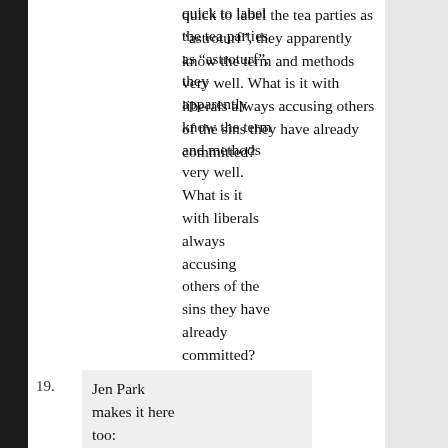quick to label the tea parties as “astroturf”, they apparently know the term and methods very well. What is it with liberals always accusing others of the sins they have already committed?
ray (f45cc3) — 1/24/2010 @ 1:44 pm
19. Jen Park makes it here too: